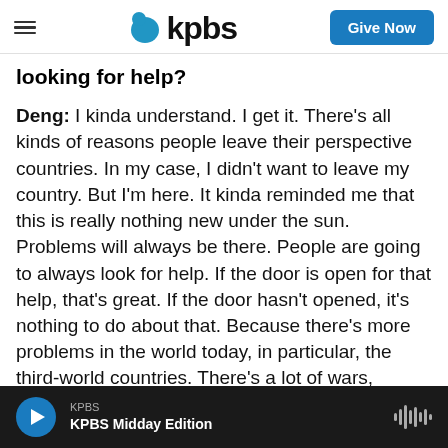KPBS — Give Now
looking for help?
Deng: I kinda understand. I get it. There's all kinds of reasons people leave their perspective countries. In my case, I didn't want to leave my country. But I'm here. It kinda reminded me that this is really nothing new under the sun. Problems will always be there. People are going to always look for help. If the door is open for that help, that's great. If the door hasn't opened, it's nothing to do about that. Because there's more problems in the world today, in particular, the third-world countries. There's a lot of wars, unnecessary wars. That
KPBS — KPBS Midday Edition